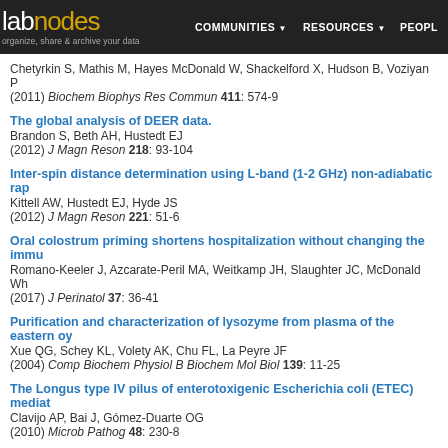labnodes | COMMUNITIES | RESOURCES | PEOPLE | organize, share & archive your data
Chetyrkin S, Mathis M, Hayes McDonald W, Shackelford X, Hudson B, Voziyan P (2011) Biochem Biophys Res Commun 411: 574-9
The global analysis of DEER data.
Brandon S, Beth AH, Hustedt EJ
(2012) J Magn Reson 218: 93-104
Inter-spin distance determination using L-band (1-2 GHz) non-adiabatic rap
Kittell AW, Hustedt EJ, Hyde JS
(2012) J Magn Reson 221: 51-6
Oral colostrum priming shortens hospitalization without changing the immu
Romano-Keeler J, Azcarate-Peril MA, Weitkamp JH, Slaughter JC, McDonald Wh
(2017) J Perinatol 37: 36-41
Purification and characterization of lysozyme from plasma of the eastern oy
Xue QG, Schey KL, Volety AK, Chu FL, La Peyre JF
(2004) Comp Biochem Physiol B Biochem Mol Biol 139: 11-25
The Longus type IV pilus of enterotoxigenic Escherichia coli (ETEC) mediat
Clavijo AP, Bai J, Gómez-Duarte OG
(2010) Microb Pathog 48: 230-8
[Synthesis and lysis of the cell wall of staphylococci].
Hawiger J
(1968) Postepy Hig Med Dosw 22: 223-61